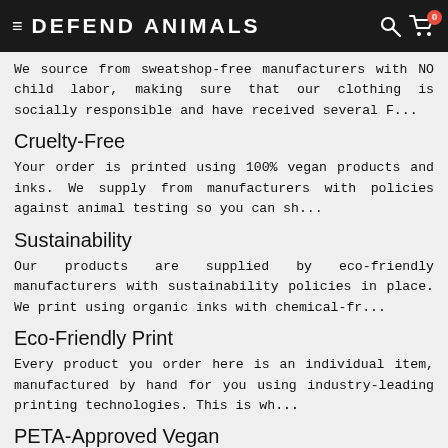DEFEND ANIMALS
We source from sweatshop-free manufacturers with NO child labor, making sure that our clothing is socially responsible and have received several F...
Cruelty-Free
Your order is printed using 100% vegan products and inks. We supply from manufacturers with policies against animal testing so you can sh...
Sustainability
Our products are supplied by eco-friendly manufacturers with sustainability policies in place. We print using organic inks with chemical-fr...
Eco-Friendly Print
Every product you order here is an individual item, manufactured by hand for you using industry-leading printing technologies. This is wh...
PETA-Approved Vegan
Defend Animals is an official partner of PETA Business Friends and all of our products have received the certification 'PETA-Approved Vega...